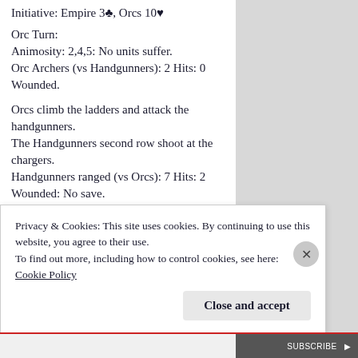Initiative: Empire 3♣, Orcs 10♥
Orc Turn:
Animosity: 2,4,5: No units suffer.
Orc Archers (vs Handgunners): 2 Hits: 0 Wounded.
Orcs climb the ladders and attack the handgunners.
The Handgunners second row shoot at the chargers.
Handgunners ranged (vs Orcs): 7 Hits: 2 Wounded: No save.
Handgunners melee (vs Orcs): 3 Hits: 0 Wounded.
Orcs (vs Handgunners): 2 Hits: 1 Wounded: No
Privacy & Cookies: This site uses cookies. By continuing to use this website, you agree to their use.
To find out more, including how to control cookies, see here: Cookie Policy
Close and accept